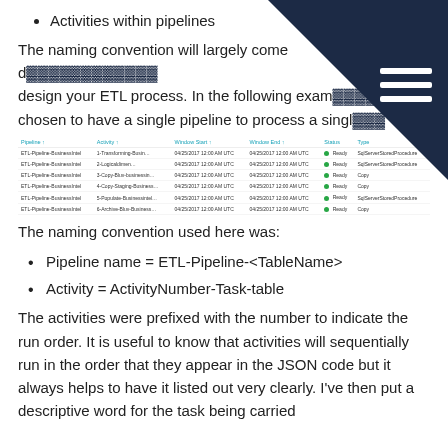Activities within pipelines
The naming convention will largely come d... design your ETL process. In the following exam... chosen to have a single pipeline to process a singl...
[Figure (screenshot): Azure Data Factory monitor table showing ETL pipeline activities with columns: Pipeline, Activity, Window Start, Window End, Status, Type. Six rows showing ETL-Pipeline-BusinessIntel pipeline activities all with Ready status.]
The naming convention used here was:
Pipeline name = ETL-Pipeline-<TableName>
Activity = ActivityNumber-Task-table
The activities were prefixed with the number to indicate the run order. It is useful to know that activities will sequentially run in the order that they appear in the JSON code but it always helps to have it listed out very clearly. I've then put a descriptive word for the task being carried